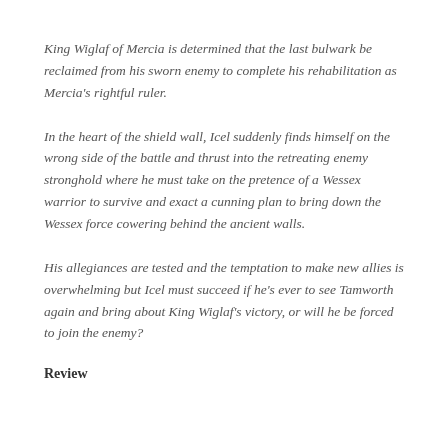King Wiglaf of Mercia is determined that the last bulwark be reclaimed from his sworn enemy to complete his rehabilitation as Mercia's rightful ruler.
In the heart of the shield wall, Icel suddenly finds himself on the wrong side of the battle and thrust into the retreating enemy stronghold where he must take on the pretence of a Wessex warrior to survive and exact a cunning plan to bring down the Wessex force cowering behind the ancient walls.
His allegiances are tested and the temptation to make new allies is overwhelming but Icel must succeed if he's ever to see Tamworth again and bring about King Wiglaf's victory, or will he be forced to join the enemy?
Review